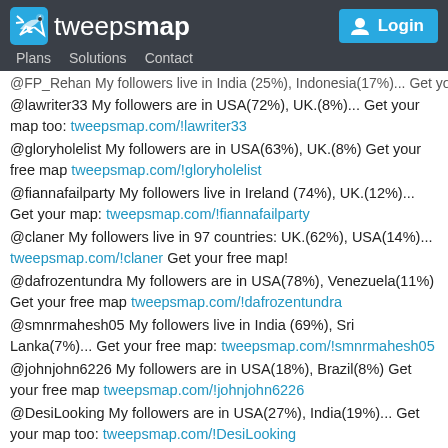tweepsmap — Plans  Solutions  Contact  Login
@FP_Rehan My followers live in India (25%), Indonesia(17%)... Get your free map: tweepsmap.com/!FP_Rehan
@lawriter33 My followers are in USA(72%), UK.(8%)... Get your map too: tweepsmap.com/!lawriter33
@gloryholelist My followers are in USA(63%), UK.(8%) Get your free map tweepsmap.com/!gloryholelist
@fiannafailparty My followers live in Ireland (74%), UK.(12%)... Get your map: tweepsmap.com/!fiannafailparty
@claner My followers live in 97 countries: UK.(62%), USA(14%)... tweepsmap.com/!claner Get your free map!
@dafrozentundra My followers are in USA(78%), Venezuela(11%) Get your free map tweepsmap.com/!dafrozentundra
@smnrmahesh05 My followers live in India (69%), Sri Lanka(7%)... Get your free map: tweepsmap.com/!smnrmahesh05
@johnjohn6226 My followers are in USA(18%), Brazil(8%) Get your free map tweepsmap.com/!johnjohn6226
@DesiLooking My followers are in USA(27%), India(19%)... Get your map too: tweepsmap.com/!DesiLooking
@shawnKook_ Meus seguidores são de Brasil(78%),EUA(6%),Coréia do Sul(4%) tweepsmap.com/!shawnKook_
@John2194 My followers live in 26 countries: Kenya(50%), Turkey(18%)... tweepsmap.com/!John2194 Get your free map!
@Henry64Ian My followers live in UK. (83%), USA(3%)... Get your map: